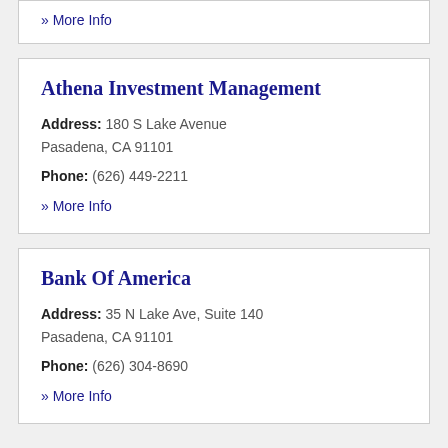» More Info
Athena Investment Management
Address: 180 S Lake Avenue Pasadena, CA 91101
Phone: (626) 449-2211
» More Info
Bank Of America
Address: 35 N Lake Ave, Suite 140 Pasadena, CA 91101
Phone: (626) 304-8690
» More Info